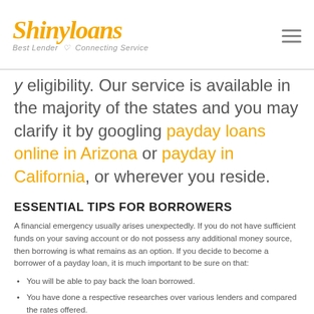Shinyloans — Best Lender Connecting Service
...y eligibility. Our service is available in the majority of the states and you may clarify it by googling payday loans online in Arizona or payday in California, or wherever you reside.
ESSENTIAL TIPS FOR BORROWERS
A financial emergency usually arises unexpectedly. If you do not have sufficient funds on your saving account or do not possess any additional money source, then borrowing is what remains as an option. If you decide to become a borrower of a payday loan, it is much important to be sure on that:
You will be able to pay back the loan borrowed.
You have done a respective researches over various lenders and compared the rates offered.
If you need an independent for obtaining a payday loan, you can turn to the Shinyloans and rely on its endeavors for providing you with an opportunity to get quick loans, competitive